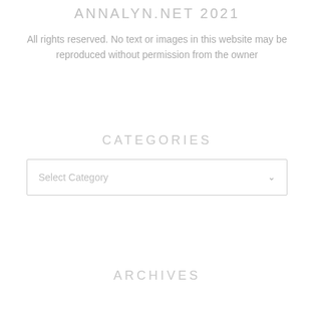ANNALYN.NET 2021
All rights reserved. No text or images in this website may be reproduced without permission from the owner
CATEGORIES
Select Category
ARCHIVES